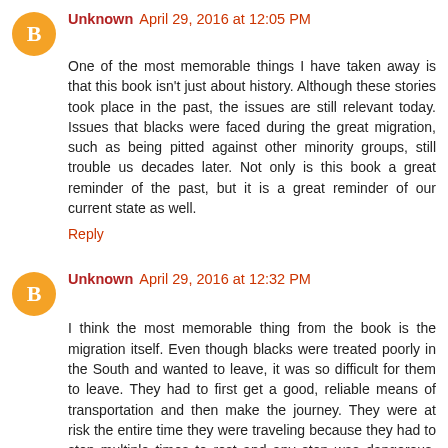Unknown April 29, 2016 at 12:05 PM
One of the most memorable things I have taken away is that this book isn't just about history. Although these stories took place in the past, the issues are still relevant today. Issues that blacks were faced during the great migration, such as being pitted against other minority groups, still trouble us decades later. Not only is this book a great reminder of the past, but it is a great reminder of our current state as well.
Reply
Unknown April 29, 2016 at 12:32 PM
I think the most memorable thing from the book is the migration itself. Even though blacks were treated poorly in the South and wanted to leave, it was so difficult for them to leave. They had to first get a good, reliable means of transportation and then make the journey. They were at risk the entire time they were traveling because they had to stop multiple times to rest and any stop was dangerous. Racist white people would drive the same routes and if a